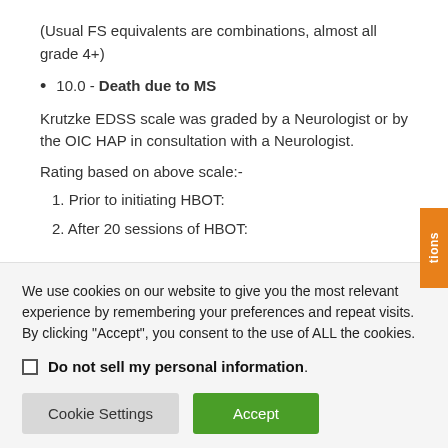(Usual FS equivalents are combinations, almost all grade 4+)
10.0 - Death due to MS
Krutzke EDSS scale was graded by a Neurologist or by the OIC HAP in consultation with a Neurologist.
Rating based on above scale:-
1. Prior to initiating HBOT:
2. After 20 sessions of HBOT:
We use cookies on our website to give you the most relevant experience by remembering your preferences and repeat visits. By clicking “Accept”, you consent to the use of ALL the cookies.
Do not sell my personal information.
Cookie Settings | Accept